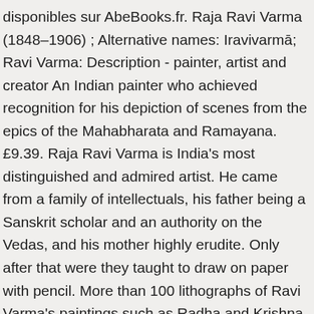disponibles sur AbeBooks.fr. Raja Ravi Varma (1848–1906) ; Alternative names: Iravivarmā; Ravi Varma: Description - painter, artist and creator An Indian painter who achieved recognition for his depiction of scenes from the epics of the Mahabharata and Ramayana. £9.39. Raja Ravi Varma is India's most distinguished and admired artist. He came from a family of intellectuals, his father being a Sanskrit scholar and an authority on the Vedas, and his mother highly erudite. Only after that were they taught to draw on paper with pencil. More than 100 lithographs of Ravi Varma's paintings such as Radha and Krishna, Yasodha and Krishna, Krishnaleela, Gopikas and Krishna, Gopi … Pendant le dernier quart du XIXe siècle, les reproductions de ses œuvres inondent le pays : on les retrouve accrochées aux murs des moindres demeures villageoises et